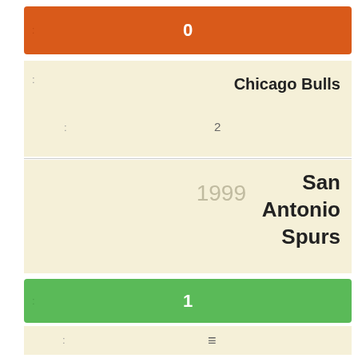[Figure (infographic): Orange bar with value 0 and colon icon on left]
Chicago Bulls
2
1999    San Antonio Spurs
[Figure (infographic): Green bar with value 1 and colon icon on left]
≡
[Figure (infographic): Orange bar with value 0 and colon icon on left]
Chicago Bulls
1